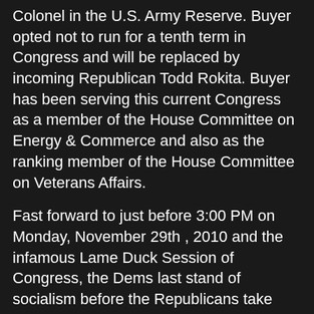Colonel in the U.S. Army Reserve. Buyer opted not to run for a tenth term in Congress and will be replaced by incoming Republican Todd Rokita. Buyer has been serving this current Congress as a member of the House Committee on Energy & Commerce and also as the ranking member of the House Committee on Veterans Affairs.
Fast forward to just before 3:00 PM on Monday, November 29th , 2010 and the infamous Lame Duck Session of Congress, the Dems last stand of socialism before the Republicans take over in January and try to unravel the twisted wreckage of our country.
Nasty Nancy Pee is nowhere to be see and in her stead is Acting Speaker (ie: substitute teacher) is Representative Laura Richardson (D-CA). Funny how Comrade Pelosi's stand in was another California woman....the House seems over run with females from The Kellyfawnya Socialist State Red Bear Republic. Richardson is still somewhat new to